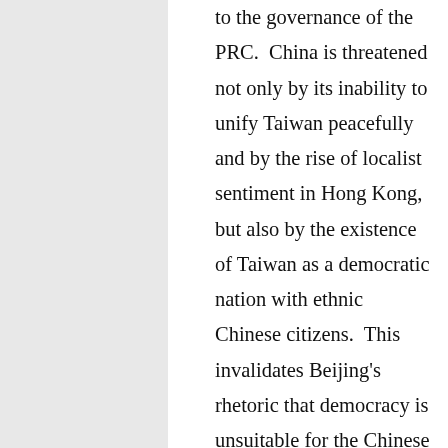to the governance of the PRC.  China is threatened not only by its inability to unify Taiwan peacefully and by the rise of localist sentiment in Hong Kong, but also by the existence of Taiwan as a democratic nation with ethnic Chinese citizens.  This invalidates Beijing's rhetoric that democracy is unsuitable for the Chinese people – unless Beijing is prepared